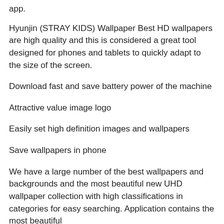app.
Hyunjin (STRAY KIDS) Wallpaper Best HD wallpapers are high quality and this is considered a great tool designed for phones and tablets to quickly adapt to the size of the screen.
Download fast and save battery power of the machine
Attractive value image logo
Easily set high definition images and wallpapers
Save wallpapers in phone
We have a large number of the best wallpapers and backgrounds and the most beautiful new UHD wallpaper collection with high classifications in categories for easy searching. Application contains the most beautiful